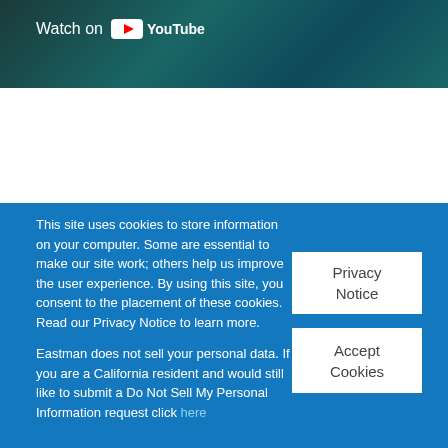[Figure (screenshot): YouTube video thumbnail with teal/dark teal background and 'Watch on YouTube' badge in top-left corner]
This site uses cookies to store information on your computer. Some are essential to make our site work; others help us improve the user experience. By using this site, you consent to the placement of these cookies. Read our Privacy Notice to learn more.

Eastman does not sell your personal data. If you are a California resident and would still like to submit a Do Not Sell My Personal Information request click here
Privacy Notice
Accept Cookies